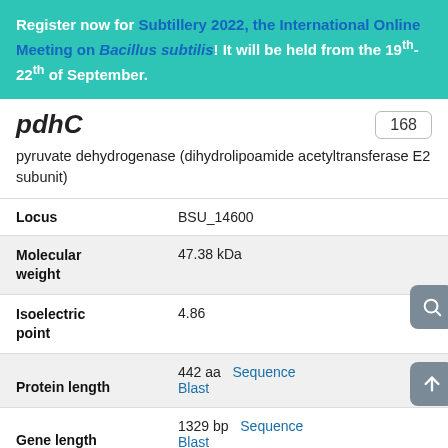Register now for Subtillery 2022, the International Online Meeting on Bacillus subtilis! It will be held from the 19th-22th of September.
pdhC   168
pyruvate dehydrogenase (dihydrolipoamide acetyltransferase E2 subunit)
| Field | Value |
| --- | --- |
| Locus | BSU_14600 |
| Molecular weight | 47.38 kDa |
| Isoelectric point | 4.86 |
| Protein length | 442 aa   Sequence
Blast |
| Gene length | 1329 bp   Sequence
Blast |